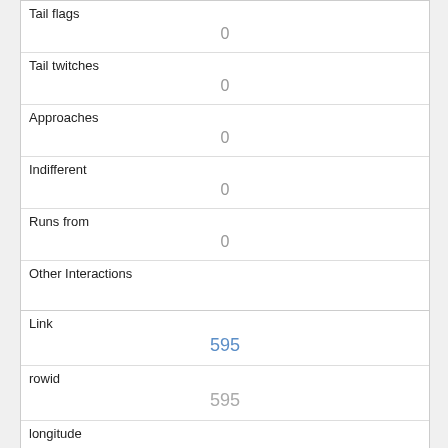| Tail flags | 0 |
| Tail twitches | 0 |
| Approaches | 0 |
| Indifferent | 0 |
| Runs from | 0 |
| Other Interactions |  |
| Lat/Long | POINT (-73.9785133301426 40.7718260288338) |
| Link | 595 |
| rowid | 595 |
| longitude | -73.9742804552383 |